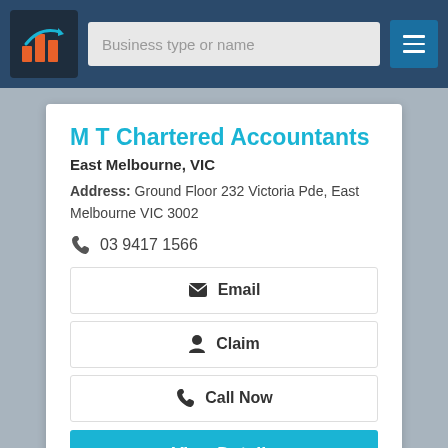Business type or name
M T Chartered Accountants
East Melbourne, VIC
Address: Ground Floor 232 Victoria Pde, East Melbourne VIC 3002
03 9417 1566
Email
Claim
Call Now
View Details